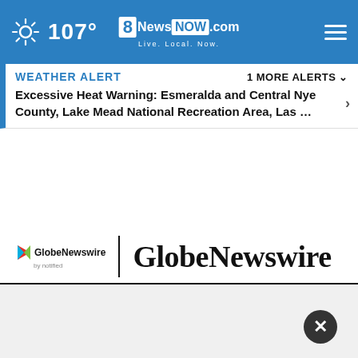107° 8NewsNow.com Live. Local. Now.
WEATHER ALERT   1 MORE ALERTS ∨
Excessive Heat Warning: Esmeralda and Central Nye County, Lake Mead National Recreation Area, Las …
[Figure (logo): GlobeNewswire by notified logo with play icon and large serif wordmark GlobeNewswire]
Australia's Largest Event Vivid Sydney Captured in a Whole New Light